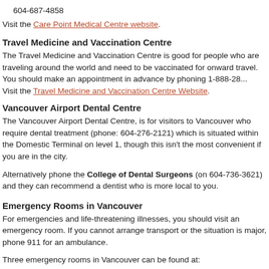604-687-4858
Visit the Care Point Medical Centre website.
Travel Medicine and Vaccination Centre
The Travel Medicine and Vaccination Centre is good for people who are traveling around the world and need to be vaccinated for onward travel. You should make an appointment in advance by phoning 1-888-28... Visit the Travel Medicine and Vaccination Centre Website.
Vancouver Airport Dental Centre
The Vancouver Airport Dental Centre, is for visitors to Vancouver who require dental treatment (phone: 604-276-2121) which is situated within the Domestic Terminal on level 1, though this isn't the most convenient location if you are in the city.
Alternatively phone the College of Dental Surgeons (on 604-736-3621) and they can recommend a dentist who is more local to you.
Emergency Rooms in Vancouver
For emergencies and life-threatening illnesses, you should visit an emergency room. If you cannot arrange transport or the situation is major, phone 911 for an ambulance.
Three emergency rooms in Vancouver can be found at: